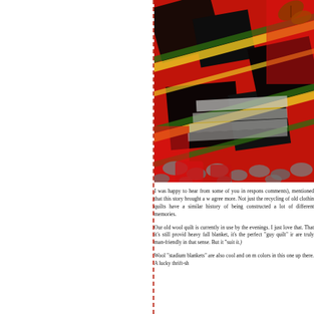[Figure (photo): A red, black, and yellow tartan/plaid wool blanket or quilt draped over what appears to be a wooden surface with gravel beneath. An autumn leaf is visible on top. The colors are vivid red, black, dark navy, yellow and green plaid pattern.]
I was happy to hear from some of you in respons comments), mentioned that this story brought a w agree more.  Not just the recycling of old clothin quilts have a similar history of being constructed a lot of different memories.
Our old wool quilt is currently in use by the evenings.  I just love that.  That it's still provid heavy fall blanket, it's the perfect "guy quilt" ir are truly man-friendly in that sense.  But it "suit it.)
Wool "stadium blankets" are also cool and on m colors in this one up there.  A lucky thrift-sh